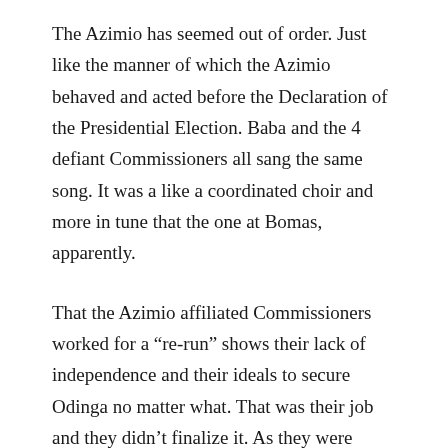The Azimio has seemed out of order. Just like the manner of which the Azimio behaved and acted before the Declaration of the Presidential Election. Baba and the 4 defiant Commissioners all sang the same song. It was a like a coordinated choir and more in tune that the one at Bomas, apparently.
That the Azimio affiliated Commissioners worked for a “re-run” shows their lack of independence and their ideals to secure Odinga no matter what. That was their job and they didn’t finalize it. As they were appointed late last year in order to secure one objective. This is a plan and that’s how you “fix” it.
We know that Kenyatta part-took in the Azimio and added value to the coalition of parties. Not only by letting Jubilee